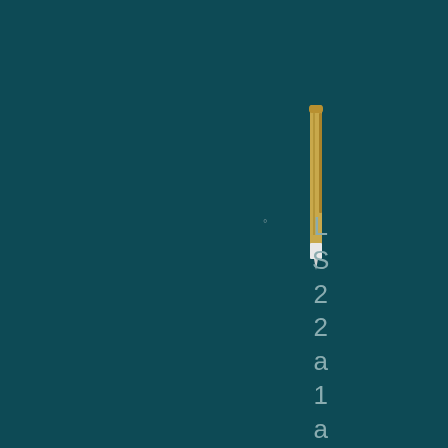[Figure (photo): A gold/bronze colored pen or stylus oriented vertically against a dark teal background, centered slightly right of center near the top portion of the image.]
° L S 2 2 a 1 a V S